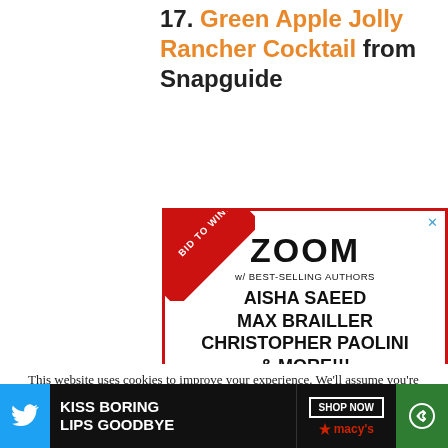17. Green Apple Jolly Rancher Cocktail from Snapguide
[Figure (other): Advertisement box with red border. Red diagonal 'BID TO WIN!' banner in top-left corner. Contains text: ZOOM w/ BEST-SELLING AUTHORS AISHA SAEED MAX BRAILLER CHRISTOPHER PAOLINI & MORE!!! Meet them with your school, school district, or writer's group! Proceeds give FREE books to children living in poverty. Close X button at top right.]
This website uses cookies to improve your experience. We'll assume you're ok with this, but you can opt-out if you wish.
[Figure (screenshot): Bottom navigation bar with Twitter bird icon on blue background on left, black background ad reading 'KISS BORING LIPS GOODBYE' with 'SHOP NOW' button and Macy's star logo, and green share icon on right. Also shows a 'CLOSE' overlay button in gray.]